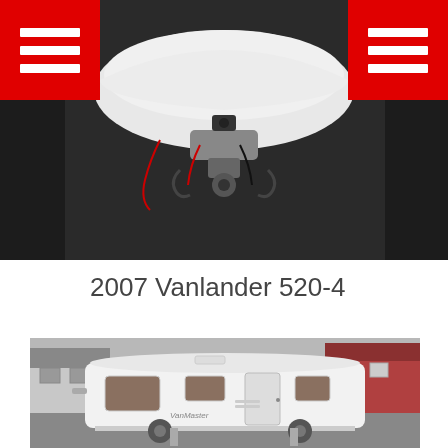[Figure (photo): Close-up photo of a caravan hitch/coupling mechanism on a dark surface, with red and black wiring visible. Two red hamburger menu icons in top-left and top-right corners.]
2007 Vanlander 520-4
[Figure (photo): Photo of a white caravan/touring caravan parked in a residential area with houses in the background. The caravan appears to be a Vanmaster brand.]